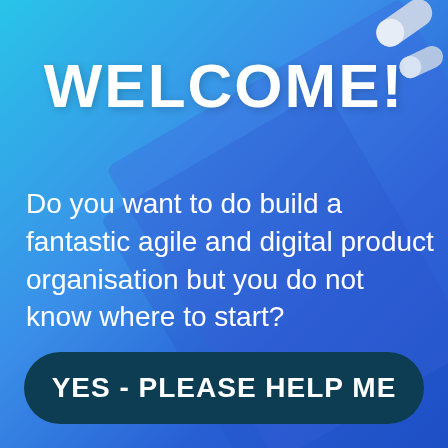WELCOME!
Do you want to do build a fantastic agile and digital product organisation but you do not know where to start?
[Figure (other): Decorative pills/capsules in silver/white in the top-right corner of the image]
YES - PLEASE HELP ME